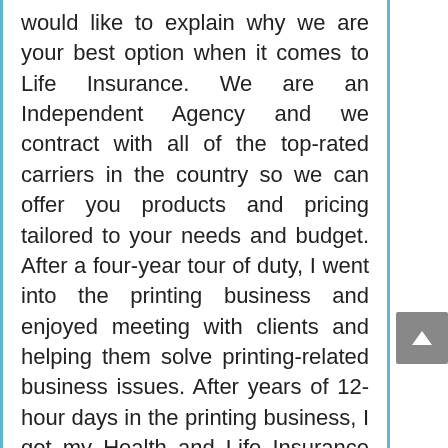would like to explain why we are your best option when it comes to Life Insurance. We are an Independent Agency and we contract with all of the top-rated carriers in the country so we can offer you products and pricing tailored to your needs and budget. After a four-year tour of duty, I went into the printing business and enjoyed meeting with clients and helping them solve printing-related business issues. After years of 12-hour days in the printing business, I got my Health and Life Insurance license and decided to specialize in Life Insurance because I have seen first hand what happens to a family when the main breadwinner dies